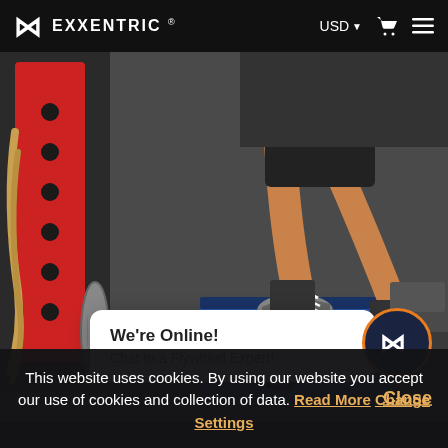EXXENTRIC ® | USD ▼ 🛒 ≡
[Figure (photo): Person performing step-up exercise with resistance bands attached to ankles, standing on a blue plyometric box. Red squat rack visible on left. Gym setting with rubber floor tiles.]
We're Online! Chat to a Flywheel Expert!
This website uses cookies. By using our website you accept our use of cookies and collection of data. Read More Change Settings Close